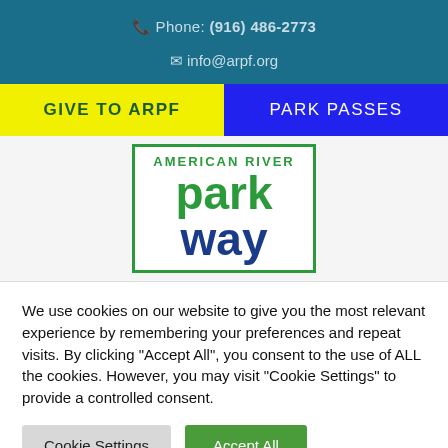Phone: (916) 486-2773
info@arpf.org
GIVE TO ARPF
PARK PASSES
[Figure (logo): American River Parkway logo with green border box, green text 'AMERICAN RIVER' and 'park', blue text 'way']
We use cookies on our website to give you the most relevant experience by remembering your preferences and repeat visits. By clicking "Accept All", you consent to the use of ALL the cookies. However, you may visit "Cookie Settings" to provide a controlled consent.
Cookie Settings
Accept All